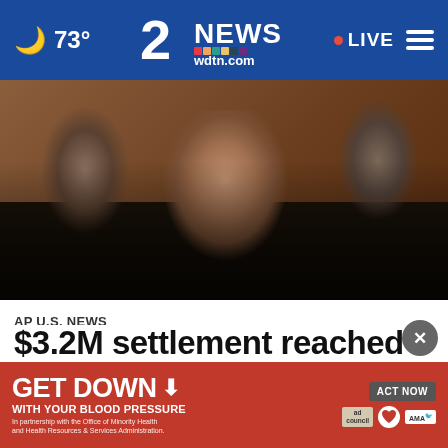🌙 73° | 2 NEWS wdtn.com | • LIVE ≡
[Figure (photo): Group of people gathered outdoors at night, protesters, brick wall background, cold weather clothing]
AP U.S. NEWS
$3.2M settlement reached in police killing of Daunte Wright
[Figure (infographic): Red advertisement banner: GET DOWN WITH YOUR BLOOD PRESSURE — In partnership with the Office of Minority Health and Health Resources & Services Administration. ACT NOW button. ad council, American Heart Association, AMA logos.]